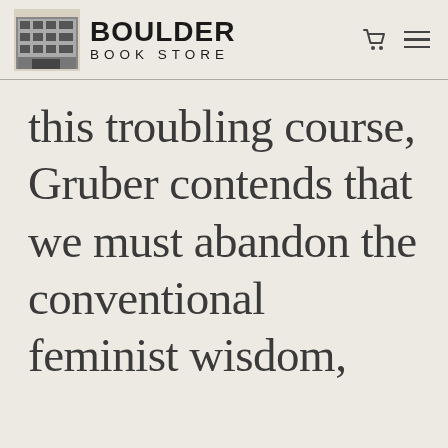[Figure (logo): Boulder Book Store logo with store building illustration and bold text reading BOULDER BOOK STORE]
this troubling course, Gruber contends that we must abandon the conventional feminist wisdom,